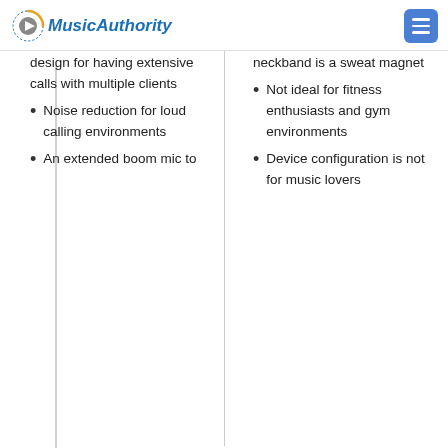MusicAuthority
Perfect design for having extensive calls with multiple clients
Noise reduction for loud calling environments
An extended boom mic to
The neckband is a sweat magnet
Not ideal for fitness enthusiasts and gym environments
Device configuration is not for music lovers